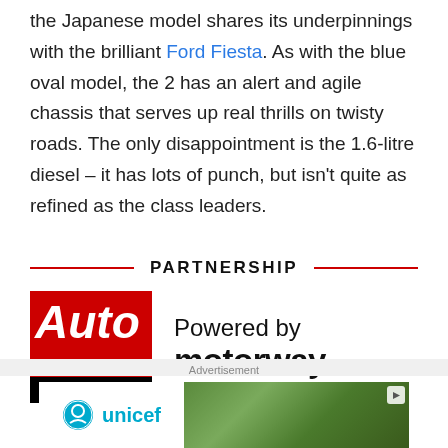the Japanese model shares its underpinnings with the brilliant Ford Fiesta. As with the blue oval model, the 2 has an alert and agile chassis that serves up real thrills on twisty roads. The only disappointment is the 1.6-litre diesel – it has lots of punch, but isn't quite as refined as the class leaders.
PARTNERSHIP
[Figure (logo): Auto Express logo (red background with white italic text) next to 'Powered by motorway>' text]
Advertisement
[Figure (photo): Unicef advertisement banner with unicef logo on left and group of smiling children wearing green hats on right]